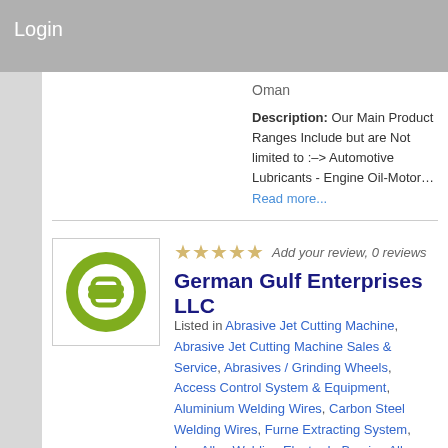Login
Oman
Description: Our Main Product Ranges Include but are Not limited to :–> Automotive Lubricants - Engine Oil-Motor… Read more...
Add your review, 0 reviews
German Gulf Enterprises LLC
Listed in Abrasive Jet Cutting Machine, Abrasive Jet Cutting Machine Sales & Service, Abrasives / Grinding Wheels, Access Control System & Equipment, Aluminium Welding Wires, Carbon Steel Welding Wires, Furne Extracting System, Low Alloy Welding Electrode Brazing Alloys, Lubricants, Maintenance & Repair of Electrodes, Nickel Alloys, Non Ferrous Alloys, Oxy Plasma Profile Cutting Machine, Oxy Plasma Profile Cutting Machine Sales & Service, Pipe Cutting &